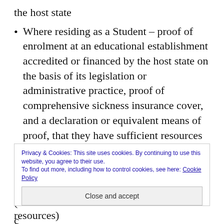the host state
Where residing as a Student – proof of enrolment at an educational establishment accredited or financed by the host state on the basis of its legislation or administrative practice, proof of comprehensive sickness insurance cover, and a declaration or equivalent means of proof, that they have sufficient resources for themselves and their family members not to
Privacy & Cookies: This site uses cookies. By continuing to use this website, you agree to their use. To find out more, including how to control cookies, see here: Cookie Policy
Close and accept
resources)